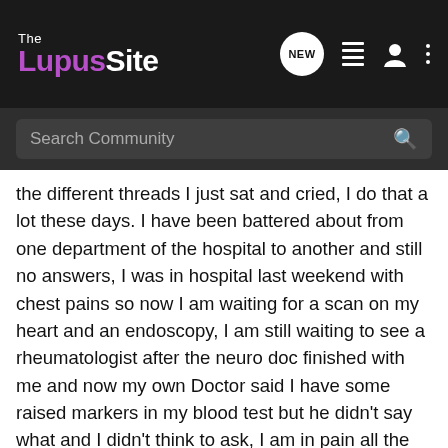The LupusSite
Search Community
the different threads I just sat and cried, I do that a lot these days. I have been battered about from one department of the hospital to another and still no answers, I was in hospital last weekend with chest pains so now I am waiting for a scan on my heart and an endoscopy, I am still waiting to see a rheumatologist after the neuro doc finished with me and now my own Doctor said I have some raised markers in my blood test but he didn't say what and I didn't think to ask, I am in pain all the time, my hair is dropping out, I have to sleep apart from my husband because of night sweats, I am very depressed, I now have a rash across my face and I am just very very tired all the time. Gosh I feel better for that rant (sorry but my friends and family seem fed up of hearing me winge) There is only so many time you can get told it's all in your head before you feel like screaming, Well I'm off to bed now I've got that off my